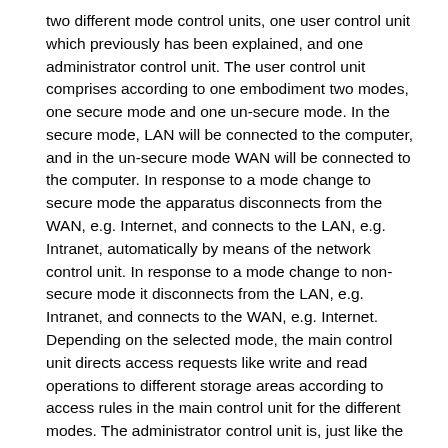two different mode control units, one user control unit which previously has been explained, and one administrator control unit. The user control unit comprises according to one embodiment two modes, one secure mode and one un-secure mode. In the secure mode, LAN will be connected to the computer, and in the un-secure mode WAN will be connected to the computer. In response to a mode change to secure mode the apparatus disconnects from the WAN, e.g. Internet, and connects to the LAN, e.g. Intranet, automatically by means of the network control unit. In response to a mode change to non-secure mode it disconnects from the LAN, e.g. Intranet, and connects to the WAN, e.g. Internet. Depending on the selected mode, the main control unit directs access requests like write and read operations to different storage areas according to access rules in the main control unit for the different modes. The administrator control unit is, just like the user control unit, connected to the main control unit. The administrator control unit may have two modes, one super user mode and one power user mode. According to one embodiment, the user control unit and the administrator control unit are incorporated in the same unit.